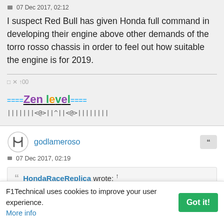07 Dec 2017, 02:12
I suspect Red Bull has given Honda full command in developing their engine above other demands of the torro rosso chassis in order to feel out how suitable the engine is for 2019.
====Zen level====
|||||||<@>||^||<@>||||||||
godlameroso
07 Dec 2017, 02:19
HondaRaceReplica wrote: ↑
F1Technical uses cookies to improve your user experience. More info  Got it!